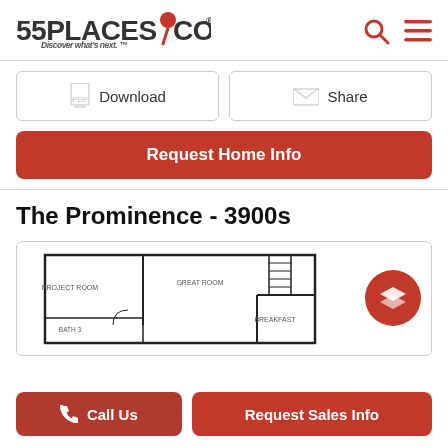[Figure (logo): 55PLACES.COM logo with red pin and tagline 'Discover what's next.']
Download
Share
Request Home Info
The Prominence - 3900s
[Figure (schematic): Floor plan showing Project Room, Great Room, Breakfast area, Bath 3]
Call Us
Request Sales Info